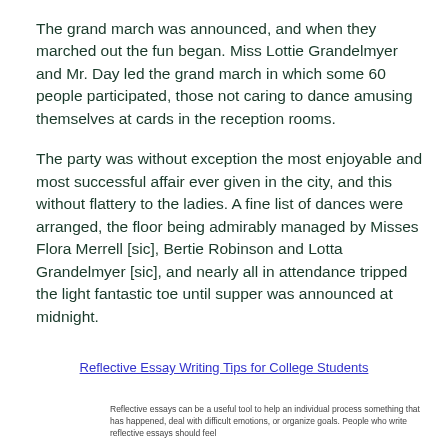The grand march was announced, and when they marched out the fun began. Miss Lottie Grandelmyer and Mr. Day led the grand march in which some 60 people participated, those not caring to dance amusing themselves at cards in the reception rooms.
The party was without exception the most enjoyable and most successful affair ever given in the city, and this without flattery to the ladies. A fine list of dances were arranged, the floor being admirably managed by Misses Flora Merrell [sic], Bertie Robinson and Lotta Grandelmyer [sic], and nearly all in attendance tripped the light fantastic toe until supper was announced at midnight.
Reflective Essay Writing Tips for College Students
Reflective essays can be a useful tool to help an individual process something that has happened, deal with difficult emotions, or organize goals. People who write reflective essays should feel